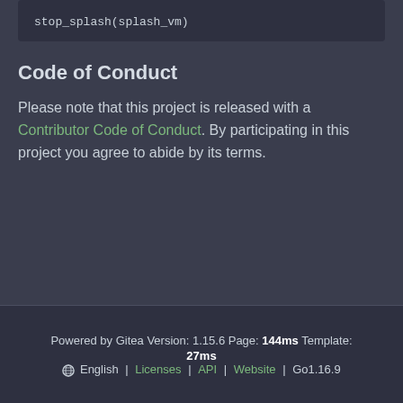stop_splash(splash_vm)
Code of Conduct
Please note that this project is released with a Contributor Code of Conduct. By participating in this project you agree to abide by its terms.
Powered by Gitea Version: 1.15.6 Page: 144ms Template: 27ms | English | Licenses | API | Website | Go1.16.9